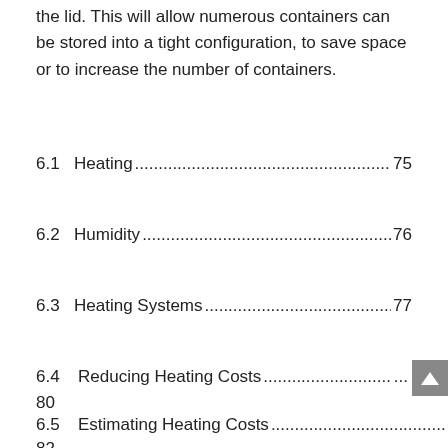the lid. This will allow numerous containers can be stored into a tight configuration, to save space or to increase the number of containers.
6.1    Heating......................................................................  75
6.2    Humidity....................................................................  76
6.3    Heating Systems.......................................................  77
6.4    Reducing Heating Costs..............................................  80
6.5    Estimating Heating Costs............................................  82